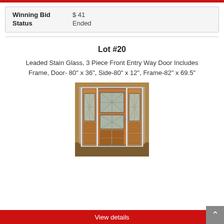| Field | Value |
| --- | --- |
| Winning Bid | $ 41 |
| Status | Ended |
Lot #20
Leaded Stain Glass, 3 Piece Front Entry Way Door Includes Frame, Door- 80" x 36", Side-80" x 12", Frame-82" x 69.5"
[Figure (photo): Photo of a leaded stain glass 3-piece front entry way door set with wooden frame, including side panels with decorative glass inserts.]
View details